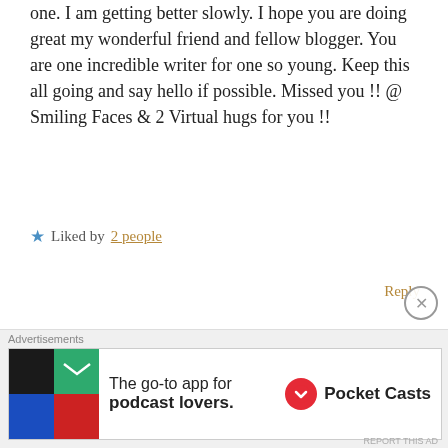one. I am getting better slowly. I hope you are doing great my wonderful friend and fellow blogger. You are one incredible writer for one so young. Keep this all going and say hello if possible. Missed you !! @ Smiling Faces & 2 Virtual hugs for you !!
★ Liked by 2 people
Reply
Ava Tripathy
3rd Aug 2020 at 5:51 am
O my god James don't say sorry for not being well.
Advertisements
The go-to app for podcast lovers. Pocket Casts